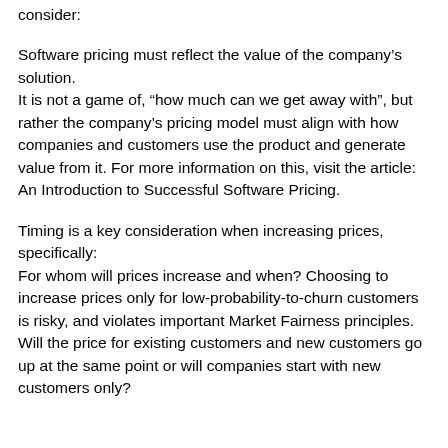consider:
Software pricing must reflect the value of the company’s solution.
It is not a game of, “how much can we get away with”, but rather the company’s pricing model must align with how companies and customers use the product and generate value from it. For more information on this, visit the article: An Introduction to Successful Software Pricing.
Timing is a key consideration when increasing prices, specifically:
For whom will prices increase and when? Choosing to increase prices only for low-probability-to-churn customers is risky, and violates important Market Fairness principles.
Will the price for existing customers and new customers go up at the same point or will companies start with new customers only?